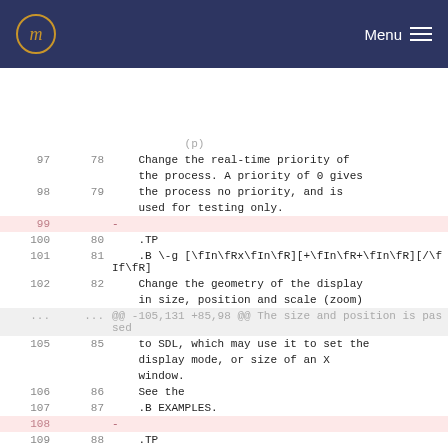Menu
| old | new | content |
| --- | --- | --- |
| 97 | 78 | Change the real-time priority of |
|  |  | the process. A priority of 0 gives |
| 98 | 79 | the process no priority, and is |
|  |  | used for testing only. |
| 99 |  | - |
| 100 | 80 | .TP |
| 101 | 81 | .B \-g [\fIn\fRx\fIn\fR][+\fIn\fR+\fIn\fR][/\fIf\fR] |
| 102 | 82 | Change the geometry of the display |
|  |  | in size, position and scale (zoom) |
| ... | ... | @@ -105,131 +85,98 @@ The size and position is passed |
| 105 | 85 | to SDL, which may use it to set the |
|  |  | display mode, or size of an X |
|  |  | window. |
| 106 | 86 | See the |
| 107 | 87 | .B EXAMPLES. |
| 108 |  | - |
| 109 | 88 | .TP |
| 110 | 89 | .B \-h |